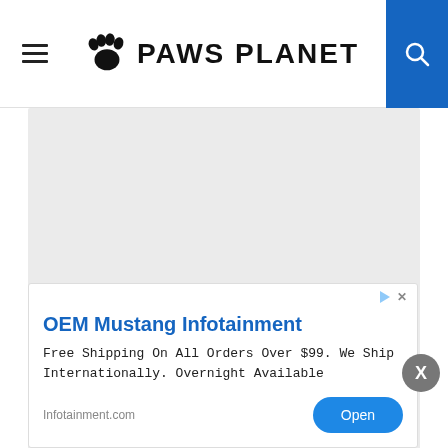PAWS PLANET
[Figure (photo): Large light gray placeholder image area below header]
[Figure (screenshot): Advertisement banner: OEM Mustang Infotainment. Free Shipping On All Orders Over $99. We Ship Internationally. Overnight Available. Infotainment.com. Open button.]